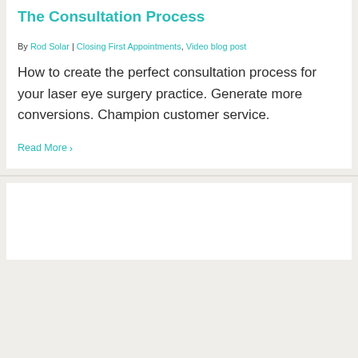The Consultation Process
By Rod Solar | Closing First Appointments, Video blog post
How to create the perfect consultation process for your laser eye surgery practice. Generate more conversions. Champion customer service.
Read More >